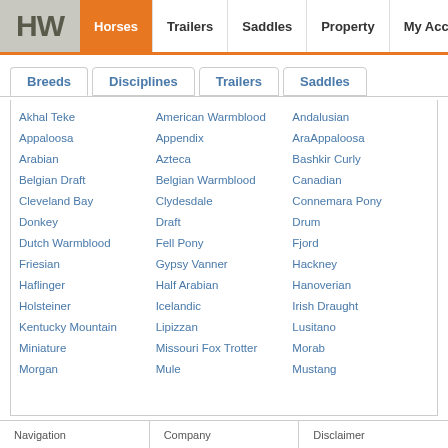HW | Horses | Trailers | Saddles | Property | My Account
Breeds | Disciplines | Trailers | Saddles
Akhal Teke
American Warmblood
Andalusian
Appaloosa
Appendix
AraAppaloosa
Arabian
Azteca
Bashkir Curly
Belgian Draft
Belgian Warmblood
Canadian
Cleveland Bay
Clydesdale
Connemara Pony
Donkey
Draft
Drum
Dutch Warmblood
Fell Pony
Fjord
Friesian
Gypsy Vanner
Hackney
Haflinger
Half Arabian
Hanoverian
Holsteiner
Icelandic
Irish Draught
Kentucky Mountain
Lipizzan
Lusitano
Miniature
Missouri Fox Trotter
Morab
Morgan
Mule
Mustang
Navigation | Company | Disclaimer